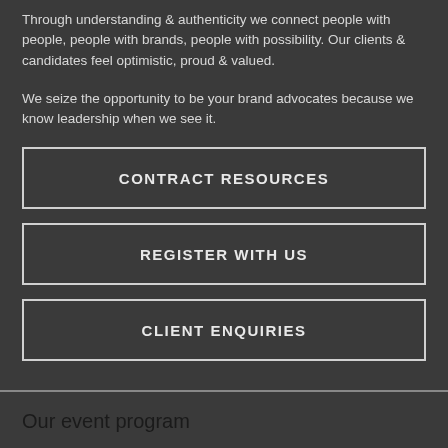Through understanding & authenticity we connect people with people, people with brands, people with possibility. Our clients & candidates feel optimistic, proud & valued.
We seize the opportunity to be your brand advocates because we know leadership when we see it.
CONTRACT RESOURCES
REGISTER WITH US
CLIENT ENQUIRIES
Our event program